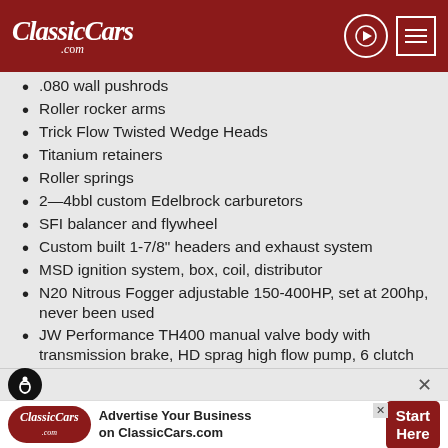ClassicCars.com
.080 wall pushrods
Roller rocker arms
Trick Flow Twisted Wedge Heads
Titanium retainers
Roller springs
2—4bbl custom Edelbrock carburetors
SFI balancer and flywheel
Custom built 1-7/8" headers and exhaust system
MSD ignition system, box, coil, distributor
N20 Nitrous Fogger adjustable 150-400HP, set at 200hp, never been used
JW Performance TH400 manual valve body with transmission brake, HD sprag high flow pump, 6 clutch drums, 10" 3200 stall JW N20 convertor
Advertise Your Business on ClassicCars.com